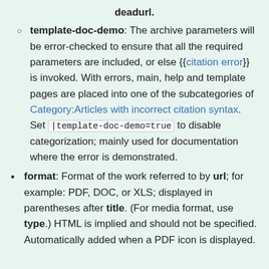deadurl.
template-doc-demo: The archive parameters will be error-checked to ensure that all the required parameters are included, or else {{citation error}} is invoked. With errors, main, help and template pages are placed into one of the subcategories of Category:Articles with incorrect citation syntax. Set |template-doc-demo=true to disable categorization; mainly used for documentation where the error is demonstrated.
format: Format of the work referred to by url; for example: PDF, DOC, or XLS; displayed in parentheses after title. (For media format, use type.) HTML is implied and should not be specified. Automatically added when a PDF icon is displayed.